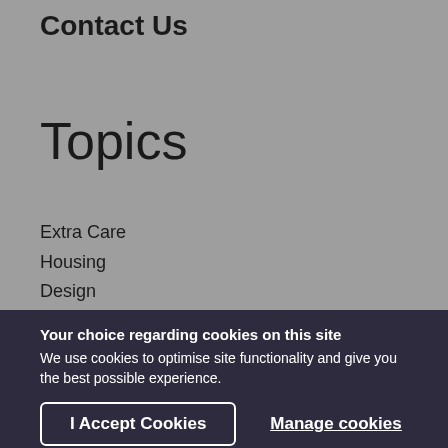Contact Us
Topics
Extra Care
Housing
Design
Health
Dementia
Your choice regarding cookies on this site
We use cookies to optimise site functionality and give you the best possible experience.
I Accept Cookies
Manage cookies